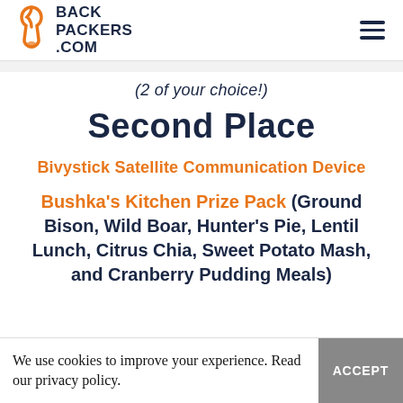BACKPACKERS.COM
(2 of your choice!)
Second Place
Bivystick Satellite Communication Device
Bushka's Kitchen Prize Pack (Ground Bison, Wild Boar, Hunter's Pie, Lentil Lunch, Citrus Chia, Sweet Potato Mash, and Cranberry Pudding Meals)
We use cookies to improve your experience. Read our privacy policy.